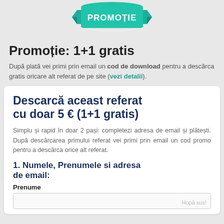[Figure (illustration): Teal/green promotional badge ribbon with text 'PROMOTIE' in white capital letters on a banner shape]
Promoție: 1+1 gratis
După plată vei primi prin email un cod de download pentru a descărca gratis oricare alt referat de pe site (vezi detalii).
Descarcă aceast referat cu doar 5 € (1+1 gratis)
Simplu și rapid în doar 2 pași: completezi adresa de email și plătești. După descărcarea primului referat vei primi prin email un cod promo pentru a descărca orice alt referat.
1. Numele, Prenumele si adresa de email:
Prenume